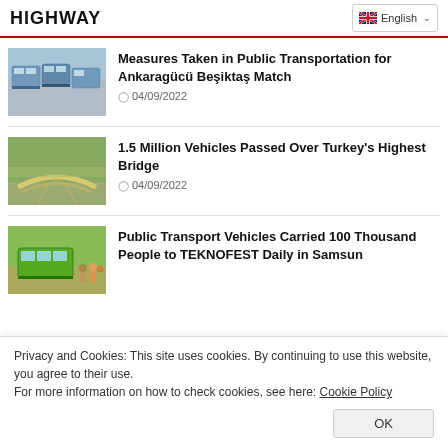HIGHWAY
English
[Figure (photo): Row of blue-and-white buses parked in a lot]
Measures Taken in Public Transportation for Ankaragücü Beşiktaş Match
04/09/2022
[Figure (photo): Aerial view of a curved highway bridge over rocky terrain]
1.5 Million Vehicles Passed Over Turkey's Highest Bridge
04/09/2022
[Figure (photo): Green public transport bus with crowd of people]
Public Transport Vehicles Carried 100 Thousand People to TEKNOFEST Daily in Samsun
Privacy and Cookies: This site uses cookies. By continuing to use this website, you agree to their use.
For more information on how to check cookies, see here: Cookie Policy